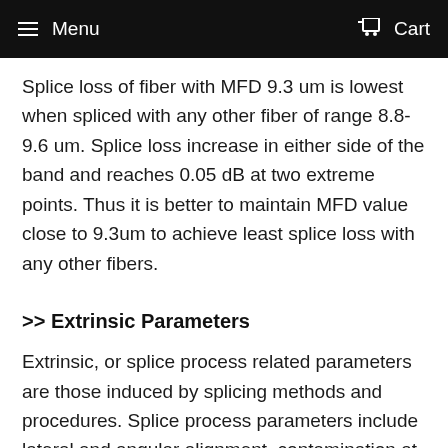Menu   Cart
Splice loss of fiber with MFD 9.3 um is lowest when spliced with any other fiber of range 8.8-9.6 um. Splice loss increase in either side of the band and reaches 0.05 dB at two extreme points. Thus it is better to maintain MFD value close to 9.3um to achieve least splice loss with any other fibers.
>> Extrinsic Parameters
Extrinsic, or splice process related parameters are those induced by splicing methods and procedures. Splice process parameters include lateral and angular alignment, contamination at the fiber end and core deformation due to un-optimized heating & pressing. These external parameters can be controlled/minimized by improving skill